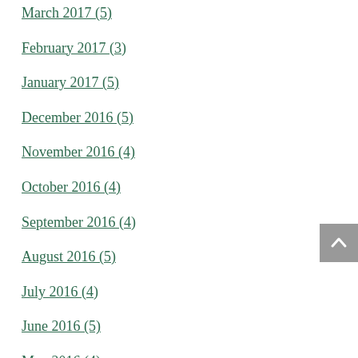March 2017 (5)
February 2017 (3)
January 2017 (5)
December 2016 (5)
November 2016 (4)
October 2016 (4)
September 2016 (4)
August 2016 (5)
July 2016 (4)
June 2016 (5)
May 2016 (4)
April 2016 (5)